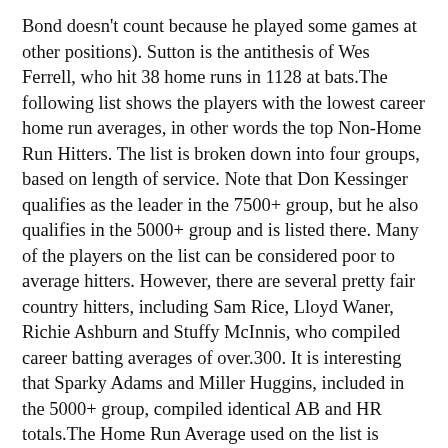Bond doesn't count because he played some games at other positions). Sutton is the antithesis of Wes Ferrell, who hit 38 home runs in 1128 at bats.The following list shows the players with the lowest career home run averages, in other words the top Non-Home Run Hitters. The list is broken down into four groups, based on length of service. Note that Don Kessinger qualifies as the leader in the 7500+ group, but he also qualifies in the 5000+ group and is listed there. Many of the players on the list can be considered poor to average hitters. However, there are several pretty fair country hitters, including Sam Rice, Lloyd Waner, Richie Ashburn and Stuffy McInnis, who compiled career batting averages of over.300. It is interesting that Sparky Adams and Miller Huggins, included in the 5000+ group, compiled identical AB and HR totals.The Home Run Average used on the list is defined as the average number of home runs that a player would hit in a season with 600 at bats.What player had the most at bats in a season without belting a round-tripper? It was little Rabbit Maranville, who batted 672 times for the 1922 Pirates. Roger "Doc" Cramer made up the